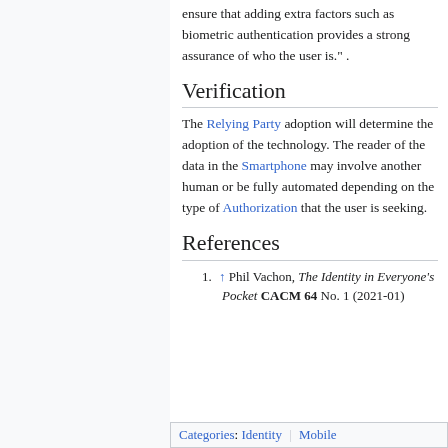ensure that adding extra factors such as biometric authentication provides a strong assurance of who the user is." .
Verification
The Relying Party adoption will determine the adoption of the technology. The reader of the data in the Smartphone may involve another human or be fully automated depending on the type of Authorization that the user is seeking.
References
1. ↑ Phil Vachon, The Identity in Everyone's Pocket CACM 64 No. 1 (2021-01)
Categories: Identity | Mobile